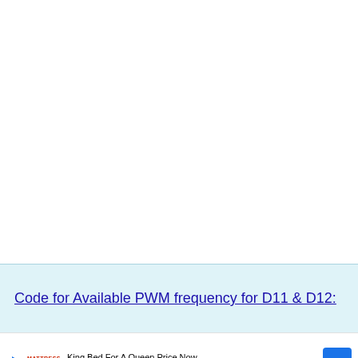Code for Available PWM frequency for D11 & D12:
[Figure (infographic): Advertisement banner: King Bed For A Queen Price Now - Mattress Firm Potomac Run Plaza, with Mattress Firm logo, play button, and navigation arrow icon]